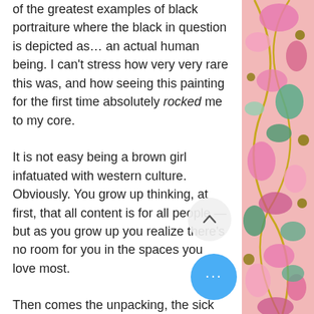do in 16th century England — and its one of the greatest examples of black portraiture where the black in question is depicted as… an actual human being. I can't stress how very very rare this was, and how seeing this painting for the first time absolutely rocked me to my core.
It is not easy being a brown girl infatuated with western culture. Obviously. You grow up thinking, at first, that all content is for all people — but as you grow up you realize there's no room for you in the spaces you love most.
Then comes the unpacking, the sick feeling you have to force yourself to understand that action movies, sci-fi, rom coms, and period romance were not designed with you in mind. That Hollywood would pretend you don't exist than put you or
[Figure (illustration): Decorative right-side panel with colorful abstract organic shapes — pink, green, teal, olive/mustard blobs and dots on a light pink/salmon background with gold curving lines.]